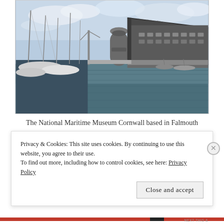[Figure (photo): Photograph of the National Maritime Museum Cornwall in Falmouth, showing a marina with sailboats on the left, calm water in the centre, and a large dark timber-clad building with a cylindrical tower on the right, under a partly cloudy sky.]
The National Maritime Museum Cornwall based in Falmouth
Privacy & Cookies: This site uses cookies. By continuing to use this website, you agree to their use.
To find out more, including how to control cookies, see here: Privacy Policy
Close and accept